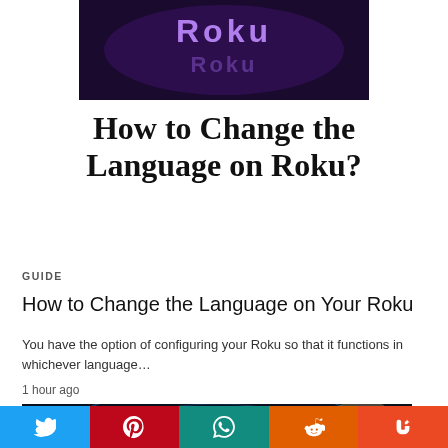[Figure (screenshot): Dark background image with Roku logo text in purple/white]
How to Change the Language on Roku?
GUIDE
How to Change the Language on Your Roku
You have the option of configuring your Roku so that it functions in whichever language…
1 hour ago
[Figure (screenshot): Dark sci-fi background image with circular arc light effects]
[Figure (other): Social share bar with Twitter, Pinterest, WhatsApp, Reddit, StumbleUpon buttons]